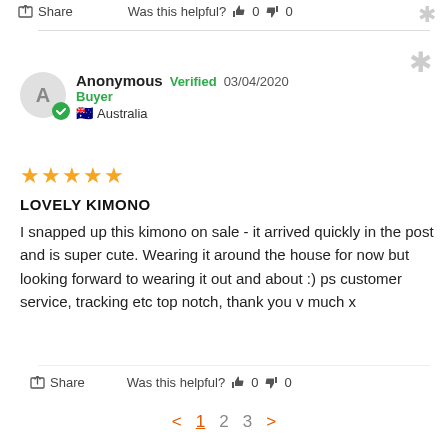Share  Was this helpful?  👍 0  👎 0
Anonymous  Verified  03/04/2020
Buyer
🇦🇺 Australia
[Figure (other): 5-star rating shown as 5 gold stars]
LOVELY KIMONO
I snapped up this kimono on sale - it arrived quickly in the post and is super cute. Wearing it around the house for now but looking forward to wearing it out and about :) ps customer service, tracking etc top notch, thank you v much x
Share  Was this helpful?  👍 0  👎 0
< 1 2 3 >